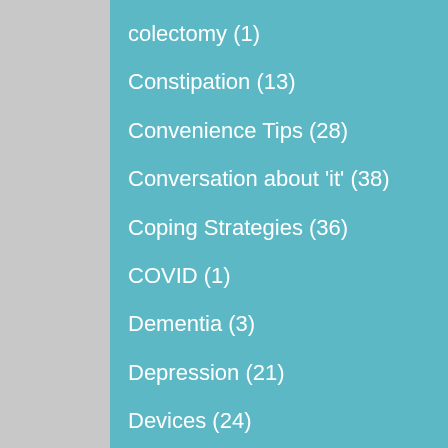colectomy (1)
Constipation (13)
Convenience Tips (28)
Conversation about 'it' (38)
Coping Strategies (36)
COVID (1)
Dementia (3)
Depression (21)
Devices (24)
Doctor Appointment (11)
Doctors (11)
Drugs (7)
Emotions (5)